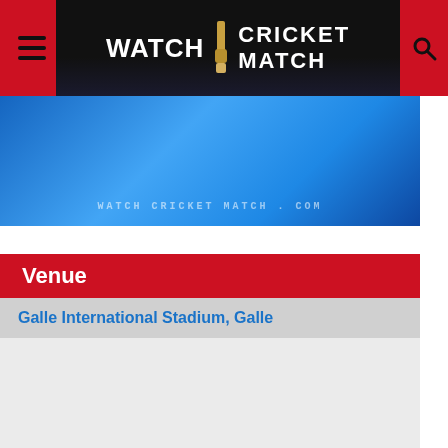Watch Cricket Match
[Figure (screenshot): Blue bokeh banner with text 'WATCH CRICKET MATCH .COM' in faint white letters]
Venue
Galle International Stadium, Galle